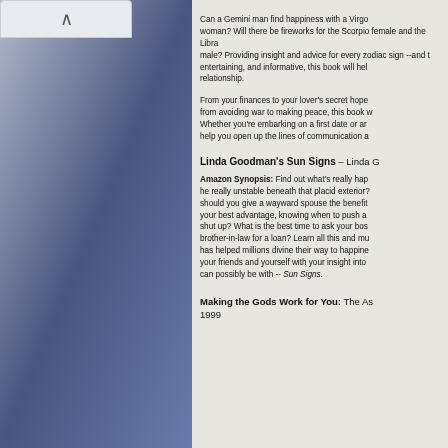Can a Gemini man find happiness with a Virgo woman? Will there be fireworks for the Scorpio female and the Libra male? Providing insight and advice for every zodiac sign --and the combinations-- entertaining, and informative, this book will help strengthen any relationship.
From your finances to your lover's secret hopes, from avoiding war to making peace, this book will change your life. Whether you're embarking on a first date or are a long-time couple, help you open up the lines of communication a
Linda Goodman's Sun Signs – Linda G
Amazon Synopsis: Find out what's really hap he really unstable beneath that placid exterior? should you give a wayward spouse the benefit your best advantage, knowing when to push a shut up? What is the best time to ask your bos brother-in-law for a loan? Learn all this and mu has helped millions divine their way to happine your friends and yourself with your insight into can possibly be with -- Sun Signs.
Making the Gods Work for You: The As 1999